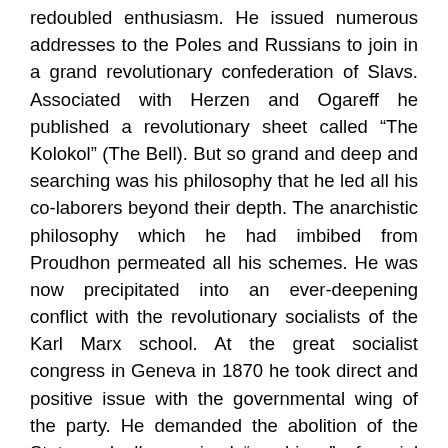redoubled enthusiasm. He issued numerous addresses to the Poles and Russians to join in a grand revolutionary confederation of Slavs. Associated with Herzen and Ogareff he published a revolutionary sheet called “The Kolokol” (The Bell). But so grand and deep and searching was his philosophy that he led all his co-laborers beyond their depth. The anarchistic philosophy which he had imbibed from Proudhon permeated all his schemes. He was now precipitated into an ever-deepening conflict with the revolutionary socialists of the Karl Marx school. At the great socialist congress in Geneva in 1870 he took direct and positive issue with the governmental wing of the party. He demanded the abolition of the State and all organized “machines” of social and religious administration. At the congress of the International at Hague in 1872 he was expelled, but succeeded in carrying thirty delegates with him, which body of anarchistic radicals finally waxed strong enough to overthrow the International Association, only to reorganize it later (as they did this last summer) under their own direction. Michael Bakounine now formulated his system of scientific anarchy as fully as his resources would permit. His hope was to crown his life-work by setting in motion a